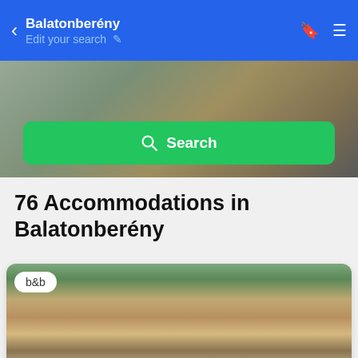Balatonberény
Edit your search
[Figure (screenshot): Hero image background with blurred map/photo overlay and green Search button]
76 Accommodations in Balatonberény
[Figure (photo): Photo of Balaton Panzió building with brown roof, wooden accents, blue umbrellas, and a b&b badge overlay]
Balaton Panzió
9.0